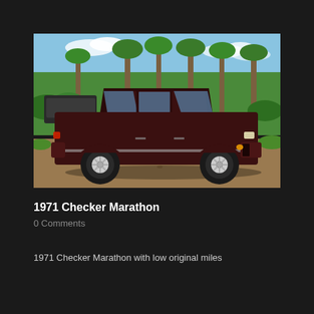[Figure (photo): Side profile photo of a 1971 Checker Marathon, dark maroon/brown color, parked on a gravel surface with palm trees and green foliage in the background under a partly cloudy blue sky.]
1971 Checker Marathon
0 Comments
1971 Checker Marathon with low original miles